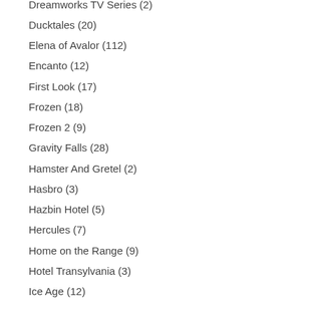Dreamworks TV Series (2)
Ducktales (20)
Elena of Avalor (112)
Encanto (12)
First Look (17)
Frozen (18)
Frozen 2 (9)
Gravity Falls (28)
Hamster And Gretel (2)
Hasbro (3)
Hazbin Hotel (5)
Hercules (7)
Home on the Range (9)
Hotel Transylvania (3)
Ice Age (12)